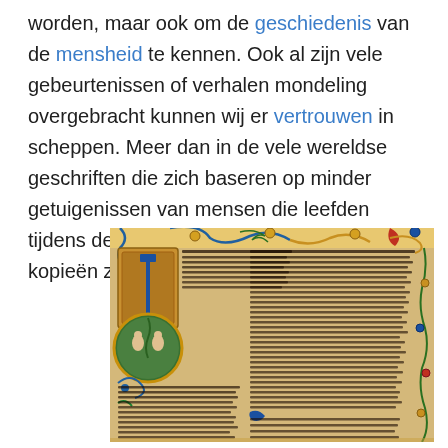worden, maar ook om de geschiedenis van de mensheid te kennen. Ook al zijn vele gebeurtenissen of verhalen mondeling overgebracht kunnen wij er vertrouwen in scheppen. Meer dan in de vele wereldse geschriften die zich baseren op minder getuigenissen van mensen die leefden tijdens de voorvallen en waarvan veel minder kopieën zijn van te vinden.
[Figure (photo): An illuminated medieval manuscript page showing decorated borders with gold, blue, green and red foliage and vines. The left portion features a large ornate initial letter 'I' in gold and blue with a circular medallion depicting figures (Adam and Eve with a serpent in a garden scene). The page contains Gothic script text in two columns. Decorative balls on stems and elaborate floral scrollwork adorn the borders.]